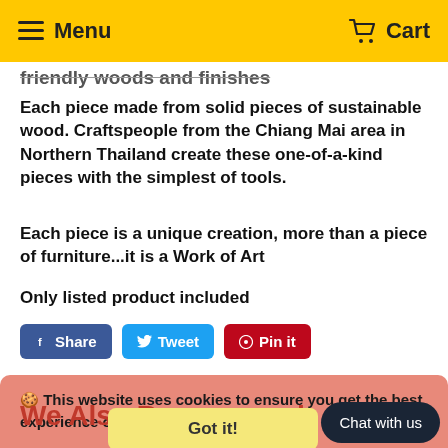Menu   Cart
friendly woods and finishes
Each piece made from solid pieces of sustainable wood. Craftspeople from the Chiang Mai area in Northern Thailand create these one-of-a-kind pieces with the simplest of tools.
Each piece is a unique creation, more than a piece of furniture...it is a Work of Art
Only listed product included
Share  Tweet  Pin it
🍪 This website uses cookies to ensure you get the best experience on our website.  Learn more
We Also Recommend
Got it!
Chat with us